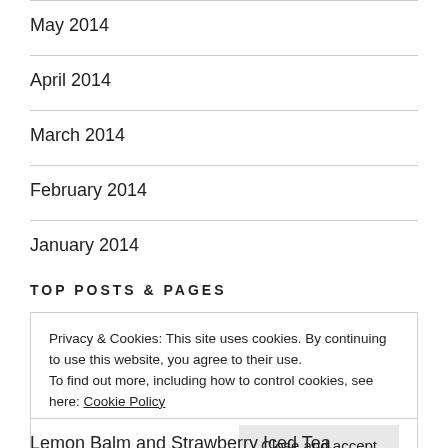May 2014
April 2014
March 2014
February 2014
January 2014
TOP POSTS & PAGES
Privacy & Cookies: This site uses cookies. By continuing to use this website, you agree to their use.
To find out more, including how to control cookies, see here: Cookie Policy
Lemon Balm and Strawberry Iced Tea